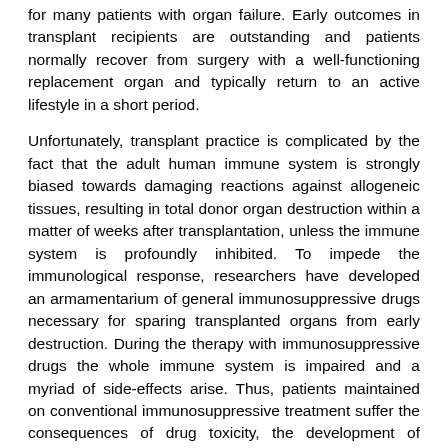for many patients with organ failure. Early outcomes in transplant recipients are outstanding and patients normally recover from surgery with a well-functioning replacement organ and typically return to an active lifestyle in a short period.
Unfortunately, transplant practice is complicated by the fact that the adult human immune system is strongly biased towards damaging reactions against allogeneic tissues, resulting in total donor organ destruction within a matter of weeks after transplantation, unless the immune system is profoundly inhibited. To impede the immunological response, researchers have developed an armamentarium of general immunosuppressive drugs necessary for sparing transplanted organs from early destruction. During the therapy with immunosuppressive drugs the whole immune system is impaired and a myriad of side-effects arise. Thus, patients maintained on conventional immunosuppressive treatment suffer the consequences of drug toxicity, the development of chronic rejection, reduced resistance to infections, and a high rate of cancer occurrence. Besides these important side effects, financial costs can be high for the families and for health care systems. Added to the reality of presently available treatment options is the fact that 10-year organ survival rates in renal transplantation have astonishingly